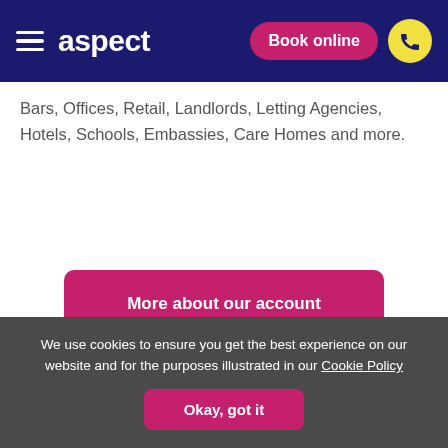aspect | Book online
Bars, Offices, Retail, Landlords, Letting Agencies, Hotels, Schools, Embassies, Care Homes and more.
More about our account services
We use cookies to ensure you get the best experience on our website and for the purposes illustrated in our Cookie Policy
Okay, got it